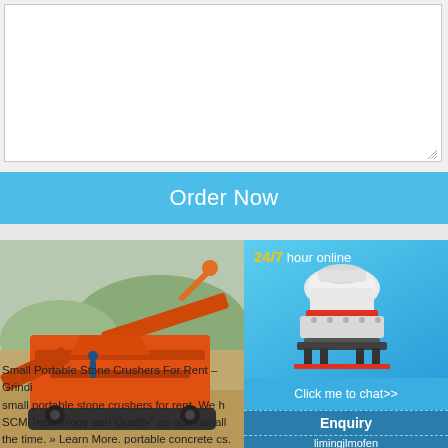[Figure (other): Empty textarea input box with border and resize handle]
Order Now
[Figure (photo): Orange mobile stone crusher/screening machine on a construction/quarry site with hills in background]
Small Portable Stone Crushers For Rent – Grindi small portable stone crushers for rent. We SCM Technology and Quality" as our mana ll the time. » Learn More. portable concrete c s. As a leading global manufacturer of crushins equipment, grinding production and comple Read More
[Figure (infographic): Sidebar with 24/7 hour online text, cone crusher machine image, Click me to chat>> button, Enquiry section, and limingjlmofen text on blue background]